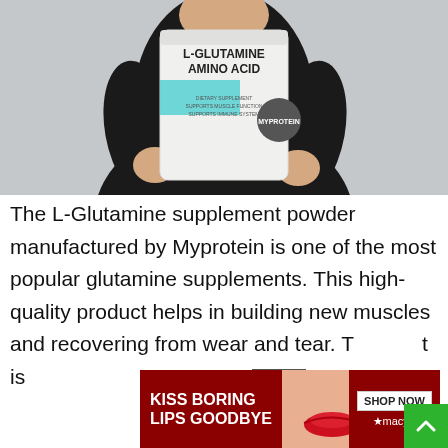[Figure (photo): Person in black outfit holding a white bag of L-Glutamine Amino Acid supplement powder by Myprotein]
The L-Glutamine supplement powder manufactured by Myprotein is one of the most popular glutamine supplements. This high-quality product helps in building new muscles and recovering from wear and tear. T t is
[Figure (photo): Advertisement banner: KISS BORING LIPS GOODBYE with a woman's face and red lips. SHOP NOW button and Macy's logo. CLOSE button visible.]